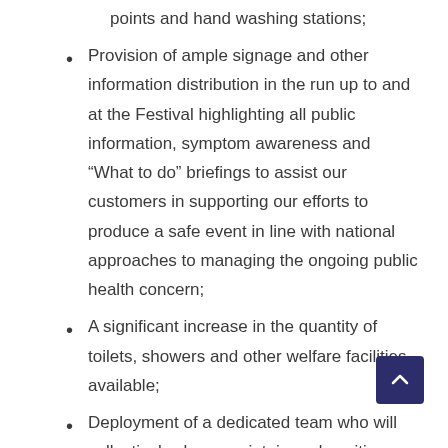points and hand washing stations;
Provision of ample signage and other information distribution in the run up to and at the Festival highlighting all public information, symptom awareness and “What to do” briefings to assist our customers in supporting our efforts to produce a safe event in line with national approaches to managing the ongoing public health concern;
A significant increase in the quantity of toilets, showers and other welfare facilities available;
Deployment of a dedicated team who will collectively clean, maintain and sanitise toilet, shower and other washing facilities 24/7 throughout the Festival;
A full appraisal of the current environment will be